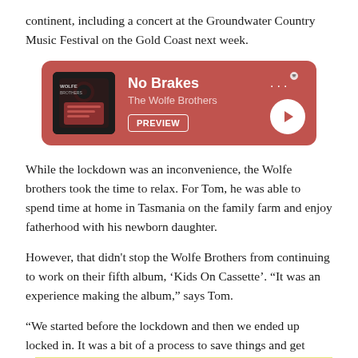continent, including a concert at the Groundwater Country Music Festival on the Gold Coast next week.
[Figure (other): Spotify music player card with album art for 'No Brakes' by The Wolfe Brothers, showing a PREVIEW button, three dots menu, and a play button on a dark red/coral background.]
While the lockdown was an inconvenience, the Wolfe brothers took the time to relax. For Tom, he was able to spend time at home in Tasmania on the family farm and enjoy fatherhood with his newborn daughter.
However, that didn't stop the Wolfe Brothers from continuing to work on their fifth album, ‘Kids On Cassette’. “It was an experience making the album,” says Tom.
“We started before the lockdown and then we ended up locked in. It was a bit of a process to save things and get there. I think it took my brother’s life years but we got there. . "